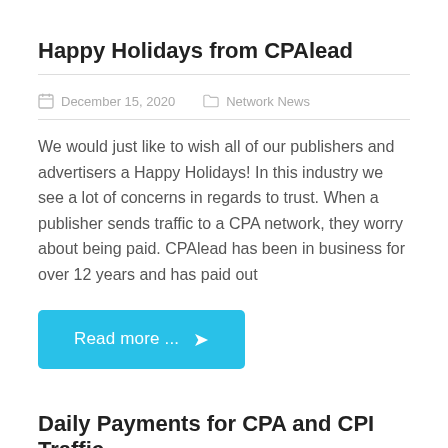Happy Holidays from CPAlead
December 15, 2020    Network News
We would just like to wish all of our publishers and advertisers a Happy Holidays! In this industry we see a lot of concerns in regards to trust. When a publisher sends traffic to a CPA network, they worry about being paid. CPAlead has been in business for over 12 years and has paid out
Read more ...
Daily Payments for CPA and CPI Traffic
February 19, 2020    Network News